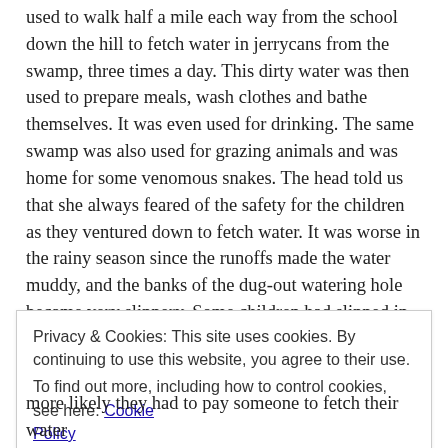used to walk half a mile each way from the school down the hill to fetch water in jerrycans from the swamp, three times a day. This dirty water was then used to prepare meals, wash clothes and bathe themselves. It was even used for drinking. The same swamp was also used for grazing animals and was home for some venomous snakes. The head told us that she always feared of the safety for the children as they ventured down to fetch water. It was worse in the rainy season since the runoffs made the water muddy, and the banks of the dug-out watering hole became very slippery. Some children had slipped in and almost drowned.
Mission 4 Water, a Christian organisation, believes that
Privacy & Cookies: This site uses cookies. By continuing to use this website, you agree to their use.
To find out more, including how to control cookies, see here: Cookie Policy
more likely they had to pay someone to fetch their water